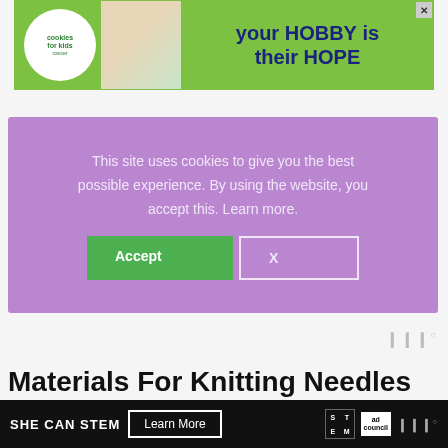[Figure (infographic): Advertisement banner for 'cookies for kids cancer' with green background showing 'your HOBBY is their HOPE' text with a person holding a heart-shaped cookie]
This site uses cookies to give you the best possible experience. By using the website, you accept this. Learn more.
Materials For Knitting Needles
[Figure (infographic): Bottom advertisement banner for SHE CAN STEM with Learn More button, STEM logo, and ad council logo]